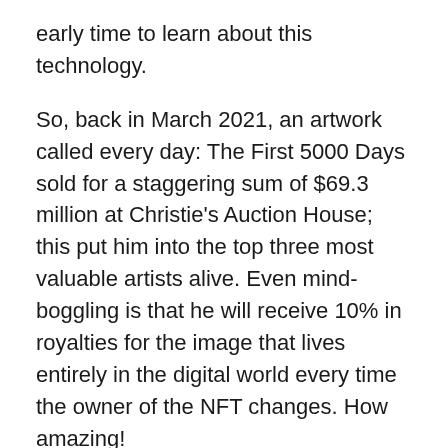early time to learn about this technology.
So, back in March 2021, an artwork called every day: The First 5000 Days sold for a staggering sum of $69.3 million at Christie's Auction House; this put him into the top three most valuable artists alive. Even mind-boggling is that he will receive 10% in royalties for the image that lives entirely in the digital world every time the owner of the NFT changes. How amazing!
Well, at this point, you may be wondering: are NFTs just artworks? No, they aren't just artworks. They also include music, pictures, or even a website domain. Regardless, it's easy to see that the current craze in the NFT space has been around digital artworks.